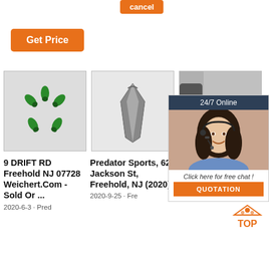[Figure (screenshot): Orange 'Get Price' button]
[Figure (screenshot): Orange button at top center]
[Figure (photo): Small green screws/bolts arranged on white background]
9 DRIFT RD Freehold NJ 07728 Weichert.Com - Sold Or ...
2020-6-3 · Pred
[Figure (photo): Gray metal wedge/tooth shaped object on white background]
Predator Sports, 62 Jackson St, Freehold, NJ (2020)
2020-9-25 · Fre
[Figure (photo): Partial photo, mostly covered by chat widget]
2 D Freehold, NJ 07728 | Redfin
2020-7-9 · 2 Dri ft Rd is a house i
[Figure (screenshot): 24/7 Online chat widget with woman wearing headset, 'Click here for free chat!' text and QUOTATION button]
[Figure (logo): TOP logo with orange house icon]